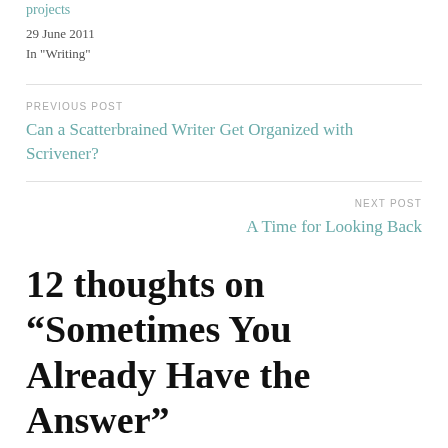projects
29 June 2011
In "Writing"
PREVIOUS POST
Can a Scatterbrained Writer Get Organized with Scrivener?
NEXT POST
A Time for Looking Back
12 thoughts on “Sometimes You Already Have the Answer”